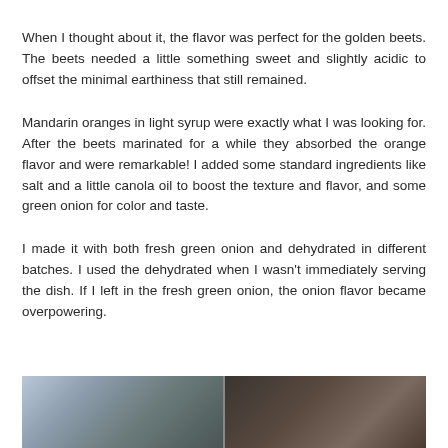When I thought about it, the flavor was perfect for the golden beets.  The beets needed a little something sweet and slightly acidic to offset the minimal earthiness that still remained.
Mandarin oranges in light syrup were exactly what I was looking for.  After the beets marinated for a while they absorbed the orange flavor and were remarkable!  I added some standard ingredients like salt and a little canola oil to boost the texture and flavor, and some green onion for color and taste.
I made it with both fresh green onion and dehydrated in different batches.  I used the dehydrated when I wasn't immediately serving the dish.  If I left in the fresh green onion, the onion flavor became overpowering.
[Figure (photo): Partial photo at bottom of page showing food dish on a wooden surface, split into two panels]